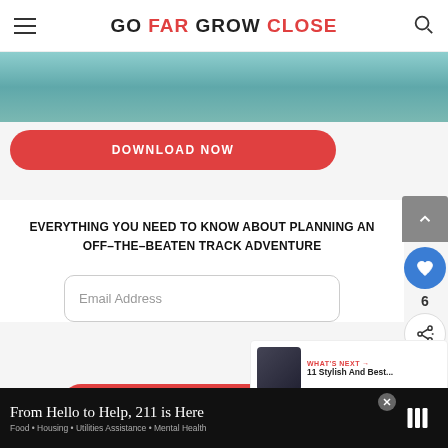GO FAR GROW CLOSE
[Figure (photo): Outdoor nature/water scene image strip at top]
DOWNLOAD NOW
EVERYTHING YOU NEED TO KNOW ABOUT PLANNING AN OFF-THE-BEATEN TRACK ADVENTURE
Email Address
DOWNLOAD THE GUIDE INSTANTLY
WHAT'S NEXT → 11 Stylish And Best...
From Hello to Help, 211 is Here
Food • Housing • Utilities Assistance • Mental Health